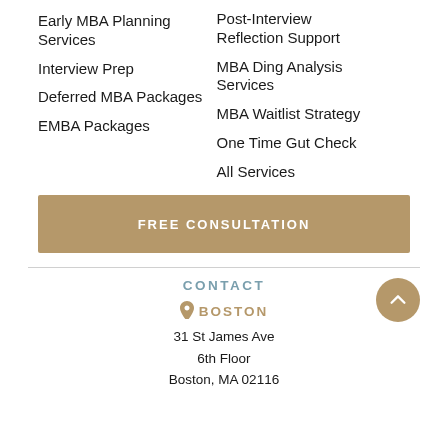Early MBA Planning Services
Interview Prep
Deferred MBA Packages
EMBA Packages
Post-Interview Reflection Support
MBA Ding Analysis Services
MBA Waitlist Strategy
One Time Gut Check
All Services
FREE CONSULTATION
CONTACT
BOSTON
31 St James Ave
6th Floor
Boston, MA 02116